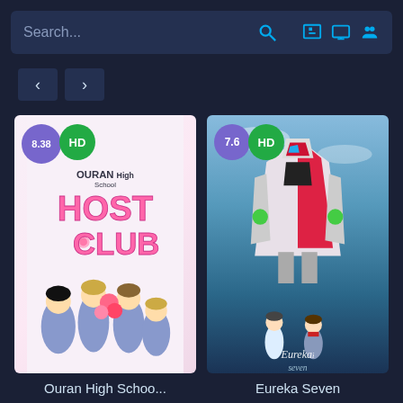Search...
[Figure (screenshot): Anime streaming app screenshot showing two anime titles: Ouran High School Host Club (rating 8.38, HD) and Eureka Seven (rating 7.6, HD) with navigation arrows and search bar]
Ouran High Schoo...
Eureka Seven